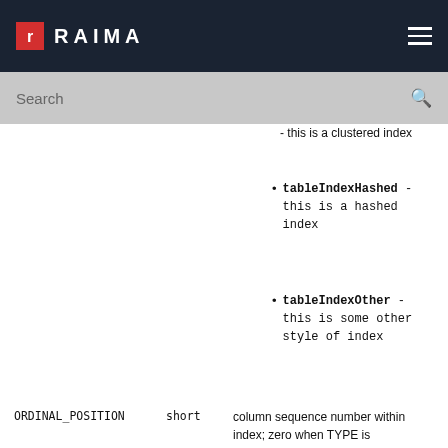RAIMA
tableIndexHashed - this is a hashed index
tableIndexOther - this is some other style of index
| Column | Type | Description |
| --- | --- | --- |
| ORDINAL_POSITION | short | column sequence number within index; zero when TYPE is tableIndexStatistic |
| COLUMN_NAME | String | column name; null when TYPE is tableIndexStatistic |
| ASC_OR_DESC | String | column sort sequence, "A" |